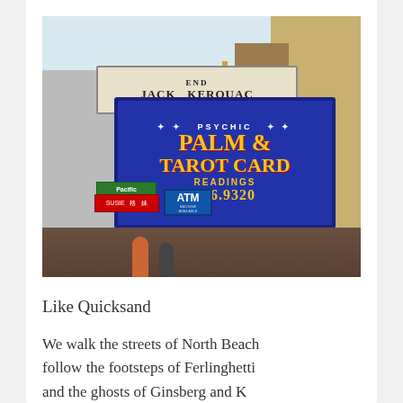[Figure (photo): Street photo of North Beach, San Francisco. Shows the Jack Kerouac Alley street sign with 'END' marker, and a large colorful blue sign reading 'Psychic Palm & Tarot Card Readings 986.9320' with yellow and red lettering. Below are various other street signs including 'Pacific', 'Susie', and 'ATM Machine Available'. Street-level scene with pedestrians visible at bottom.]
Like Quicksand
We walk the streets of North Beach follow the footsteps of Ferlinghetti and the ghosts of Ginsberg and K...